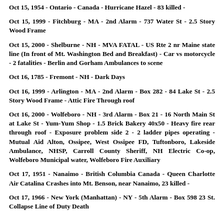Oct 15, 1954 - Ontario - Canada - Hurricane Hazel - 83 killed -
Oct 15, 1999 - Fitchburg - MA - 2nd Alarm - 737 Water St - 2.5 Story Wood Frame
Oct 15, 2000 - Shelburne - NH - MVA FATAL - US Rte 2 nr Maine state line (In front of Mt. Washington Bed and Breakfast) - Car vs motorcycle - 2 fatalities - Berlin and Gorham Ambulances to scene
Oct 16, 1785 - Fremont - NH - Dark Days
Oct 16, 1999 - Arlington - MA - 2nd Alarm - Box 282 - 84 Lake St - 2.5 Story Wood Frame - Attic Fire Through roof
Oct 16, 2000 - Wolfeboro - NH - 3rd Alarm - Box 21 - 16 North Main St at Lake St - Yum-Yum Shop - 1.5 Brick Bakery 40x50 - Heavy fire rear through roof - Exposure problem side 2 - 2 ladder pipes operating - Mutual Aid Alton, Ossipee, West Ossipee FD, Tuftonboro, Lakeside Ambulance, NHSP, Carroll County Sheriff, NH Electric Co-op, Wolfeboro Municipal water, Wolfeboro Fire Auxiliary
Oct 17, 1951 - Nanaimo - British Columbia Canada - Queen Charlotte Air Catalina Crashes into Mt. Benson, near Nanaimo, 23 killed -
Oct 17, 1966 - New York (Manhattan) - NY - 5th Alarm - Box 598 23 St. Collapse Line of Duty Death